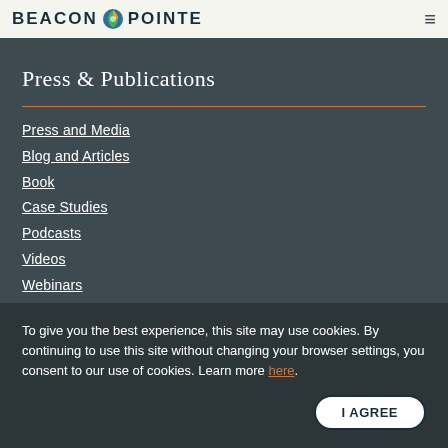BEACON POINTE
Press & Publications
Press and Media
Blog and Articles
Book
Case Studies
Podcasts
Videos
Webinars
To give you the best experience, this site may use cookies. By continuing to use this site without changing your browser settings, you consent to our use of cookies. Learn more here.
I AGREE
Get Connected
Our Offices